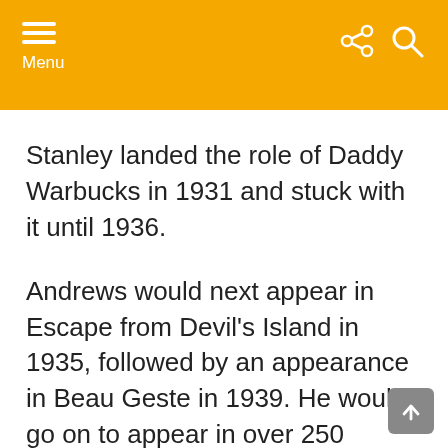Menu
Stanley landed the role of Daddy Warbucks in 1931 and stuck with it until 1936.
Andrews would next appear in Escape from Devil's Island in 1935, followed by an appearance in Beau Geste in 1939. He would go on to appear in over 250 feature films, including Mr. Smith Goes to Washington, State of the Union, It's a Great Life, and Cry, Terror!